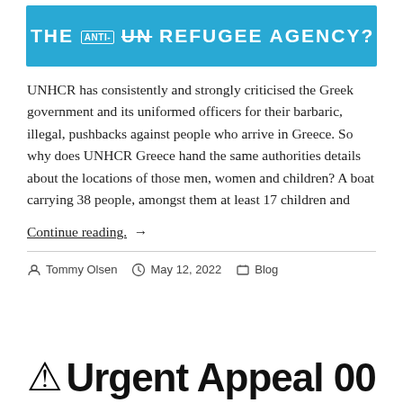[Figure (illustration): Blue banner with white bold uppercase text reading 'THE ANTI- UN REFUGEE AGENCY?' with stylized font]
UNHCR has consistently and strongly criticised the Greek government and its uniformed officers for their barbaric, illegal, pushbacks against people who arrive in Greece. So why does UNHCR Greece hand the same authorities details about the locations of those men, women and children? A boat carrying 38 people, amongst them at least 17 children and
Continue reading. →
Tommy Olsen   May 12, 2022   Blog
⚠ Urgent Appeal 00